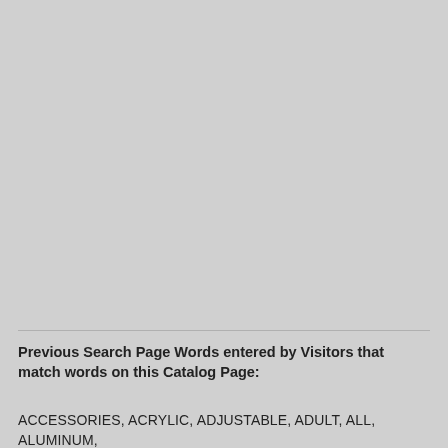Previous Search Page Words entered by Visitors that match words on this Catalog Page:
ACCESSORIES, ACRYLIC, ADJUSTABLE, ADULT, ALL, ALUMINUM,